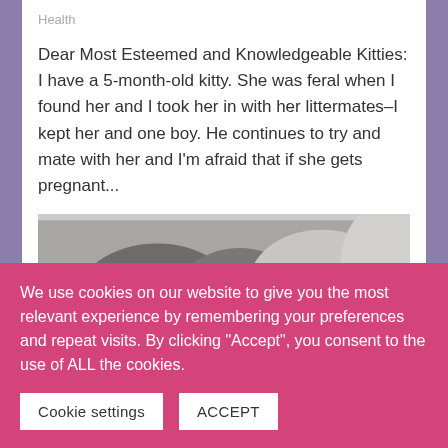Health
Dear Most Esteemed and Knowledgeable Kitties: I have a 5-month-old kitty. She was feral when I found her and I took her in with her littermates–I kept her and one boy. He continues to try and mate with her and I'm afraid that if she gets pregnant...
[Figure (photo): Photo of a cat resting on a grey/white fluffy surface, viewed from above, dark fur visible]
We use cookies on our website to give you the most relevant experience by remembering your preferences and repeat visits. By clicking “Accept”, you consent to the use of ALL the cookies.